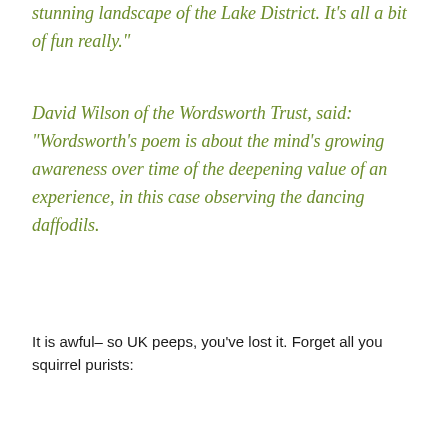stunning landscape of the Lake District. It’s all a bit of fun really.”
David Wilson of the Wordsworth Trust, said: “Wordsworth’s poem is about the mind’s growing awareness over time of the deepening value of an experience, in this case observing the dancing daffodils.
It is awful– so UK peeps, you’ve lost it.  Forget all you squirrel purists: